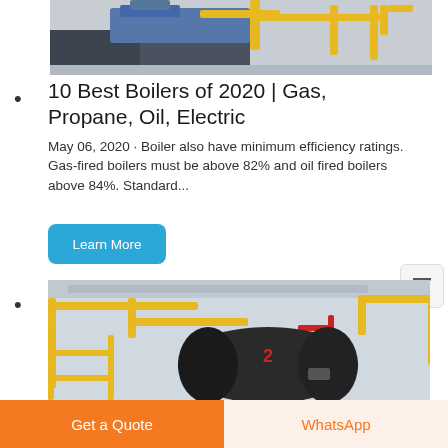[Figure (photo): Industrial boiler room with blue machinery, yellow gas pipes on ceiling]
10 Best Boilers of 2020 | Gas, Propane, Oil, Electric
May 06, 2020 · Boiler also have minimum efficiency ratings. Gas-fired boilers must be above 82% and oil fired boilers above 84%. Standard...
Learn More
[Figure (photo): Industrial boiler room with large black cylindrical boiler tank, yellow and red pipes]
Get a Quote
WhatsApp